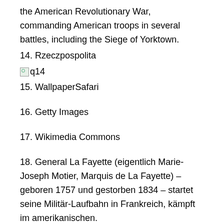the American Revolutionary War, commanding American troops in several battles, including the Siege of Yorktown.
14. Rzeczpospolita
[Figure (other): Broken image placeholder labeled q14]
15. WallpaperSafari
16. Getty Images
17. Wikimedia Commons
18. General La Fayette (eigentlich Marie-Joseph Motier, Marquis de La Fayette) – geboren 1757 und gestorben 1834 – startet seine Militär-Laufbahn in Frankreich, kämpft im amerikanischen.
19. Découvrez gratuitement l'arbre généalogique de Marie Joseph Paul Yves Roch Gilbert DU MOTIER DE LA FAYETTE pour tout savoir sur ses origines et son histoire